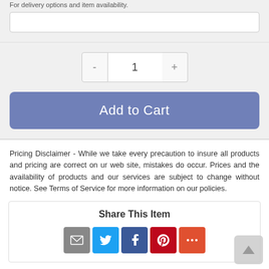For delivery options and item availability.
1
Add to Cart
Pricing Disclaimer - While we take every precaution to insure all products and pricing are correct on ur web site, mistakes do occur. Prices and the availability of products and our services are subject to change without notice. See Terms of Service for more information on our policies.
Share This Item
[Figure (infographic): Social share icons: email (gray), twitter (blue), facebook (dark blue), pinterest (red), more (orange-red)]